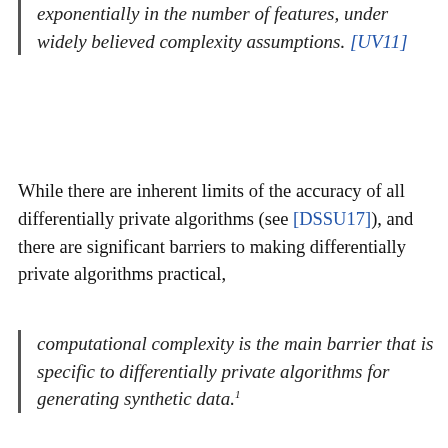exponentially in the number of features, under widely believed complexity assumptions. [UV11]
While there are inherent limits of the accuracy of all differentially private algorithms (see [DSSU17]), and there are significant barriers to making differentially private algorithms practical,
computational complexity is the main barrier that is specific to differentially private algorithms for generating synthetic data.1